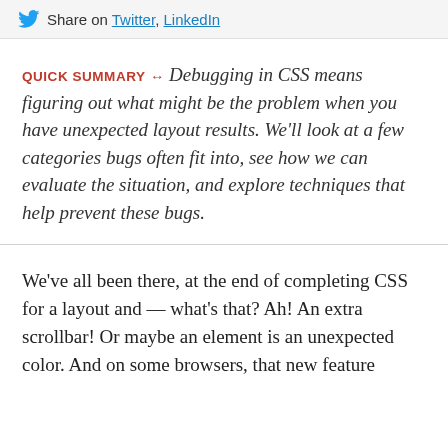Share on Twitter, LinkedIn
QUICK SUMMARY ↔ Debugging in CSS means figuring out what might be the problem when you have unexpected layout results. We'll look at a few categories bugs often fit into, see how we can evaluate the situation, and explore techniques that help prevent these bugs.
We've all been there, at the end of completing CSS for a layout and — what's that? Ah! An extra scrollbar! Or maybe an element is an unexpected color. And on some browsers, that new feature